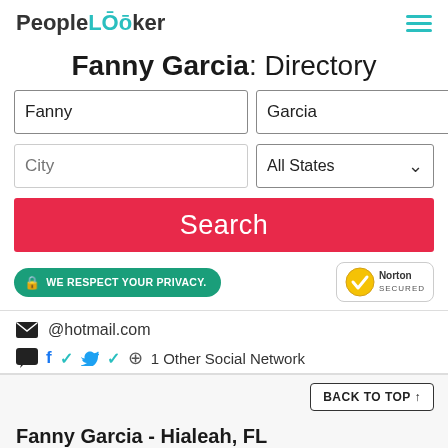PeopleLooker
Fanny Garcia: Directory
Fanny | Garcia | City | All States | Search
WE RESPECT YOUR PRIVACY. | Norton SECURED
@hotmail.com
1 Other Social Network
BACK TO TOP ↑
Fanny Garcia - Hialeah, FL